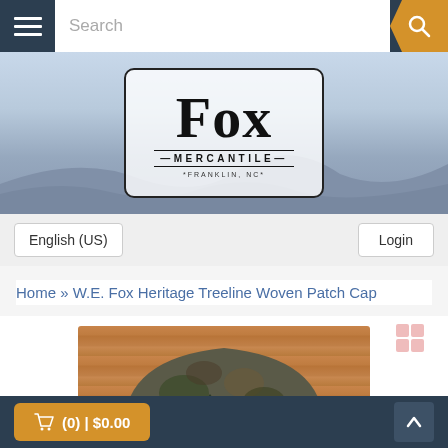Fox Mercantile - Search navigation bar
[Figure (logo): Fox Mercantile logo badge with text FOX MERCANTILE FRANKLIN NC on a light blue mountain/sky background hero banner]
English (US)
Login
Home » W.E. Fox Heritage Treeline Woven Patch Cap
[Figure (photo): Product photo of a camouflage woven patch cap against a wood plank background, showing the treeline woven patch detail]
(0) | $0.00